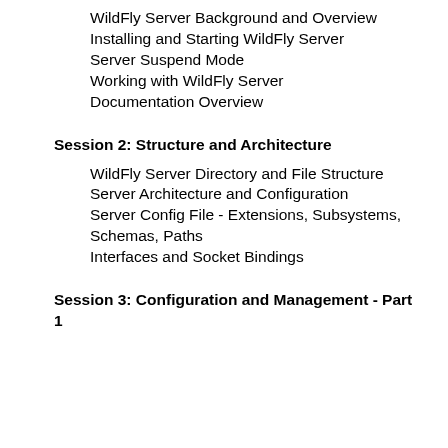WildFly Server Background and Overview
Installing and Starting WildFly Server
Server Suspend Mode
Working with WildFly Server
Documentation Overview
Session 2: Structure and Architecture
WildFly Server Directory and File Structure
Server Architecture and Configuration
Server Config File - Extensions, Subsystems, Schemas, Paths
Interfaces and Socket Bindings
Session 3: Configuration and Management - Part 1